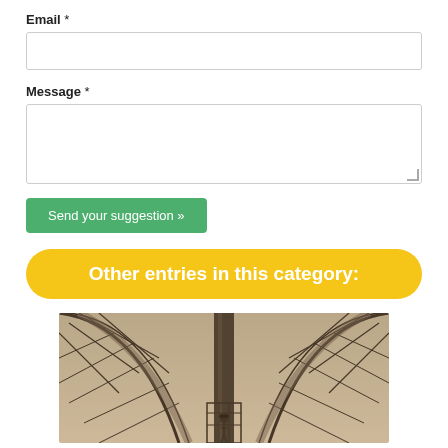Email *
Message *
Send your suggestion »
Other entries in this category:
[Figure (photo): Historic sepia photograph showing the underside/interior structure of a large iron framework (likely the Eiffel Tower), with arched lattice metalwork and a central pillar. A person in period clothing stands on scaffolding at the bottom center.]